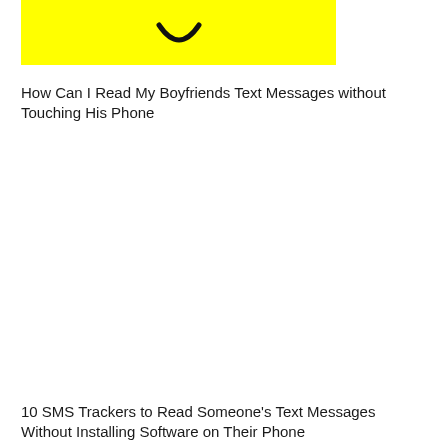[Figure (illustration): Yellow background with a partial smiley face icon (dark circular smile/arc shape visible at top)]
How Can I Read My Boyfriends Text Messages without Touching His Phone
10 SMS Trackers to Read Someone's Text Messages Without Installing Software on Their Phone